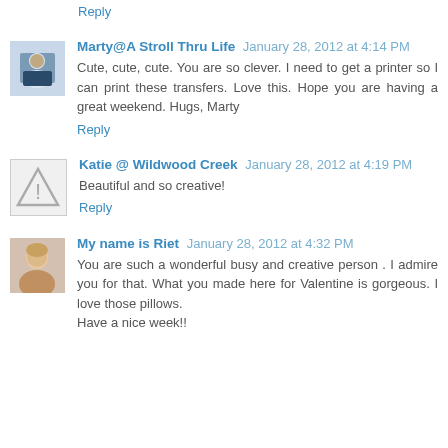Reply
Marty@A Stroll Thru Life January 28, 2012 at 4:14 PM
Cute, cute, cute. You are so clever. I need to get a printer so I can print these transfers. Love this. Hope you are having a great weekend. Hugs, Marty
Reply
Katie @ Wildwood Creek January 28, 2012 at 4:19 PM
Beautiful and so creative!
Reply
My name is Riet January 28, 2012 at 4:32 PM
You are such a wonderful busy and creative person . I admire you for that. What you made here for Valentine is gorgeous. I love those pillows.
Have a nice week!!